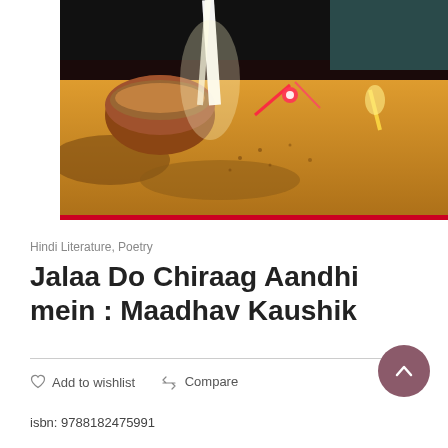[Figure (photo): Close-up photo of lit candles/diyas on a surface, dark background with warm light glowing from the flames]
Hindi Literature, Poetry
Jalaa Do Chiraag Aandhi mein : Maadhav Kaushik
Add to wishlist   Compare
isbn: 9788182475991